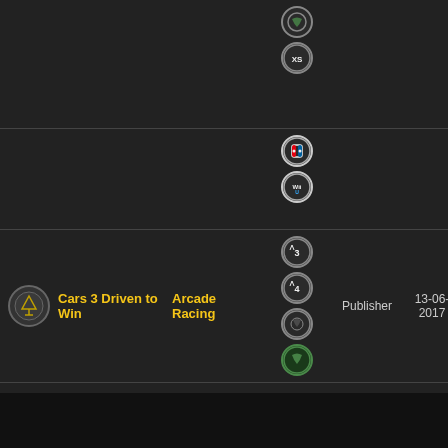| Icon | Title | Genre | Platforms | Publisher | Date |
| --- | --- | --- | --- | --- | --- |
| [Xbox XS icon] |  |  | Xbox, XboxXS |  |  |
| [Switch/WiiU icon] |  |  | Switch, WiiU |  |  |
| [Cars 3 icon] | Cars 3 Driven to Win | Arcade Racing | PS3, PS4, Xbox360, Xbox | Publisher | 13-06-2017 |
| [Injustice 2 icon] | Injustice 2 | 2D Fighting | PS4, Steam, Xbox | Publisher | 16-05-2017 |
| [Batman icon] | Batman Return to Arkham | Open World | PS4, Xbox | Publisher | 18-10-2016 |